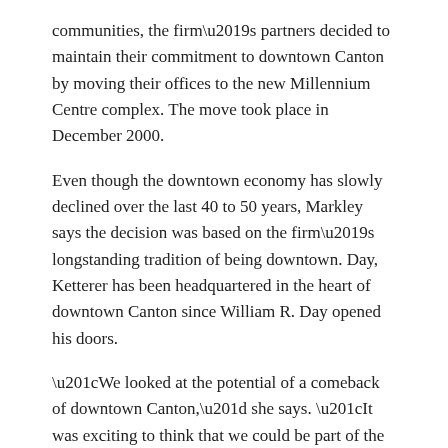communities, the firm's partners decided to maintain their commitment to downtown Canton by moving their offices to the new Millennium Centre complex. The move took place in December 2000.
Even though the downtown economy has slowly declined over the last 40 to 50 years, Markley says the decision was based on the firm's longstanding tradition of being downtown. Day, Ketterer has been headquartered in the heart of downtown Canton since William R. Day opened his doors.
“We looked at the potential of a comeback of downtown Canton,” she says. “It was exciting to think that we could be part of the project that turned around downtown.” How to reach: Day, Ketterer, Raley, Wright & Rybolt, (330) 455-0173
Connie Swenson